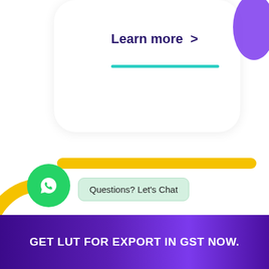Learn more >
Questions? Let's Chat
GET LUT FOR EXPORT IN GST NOW.